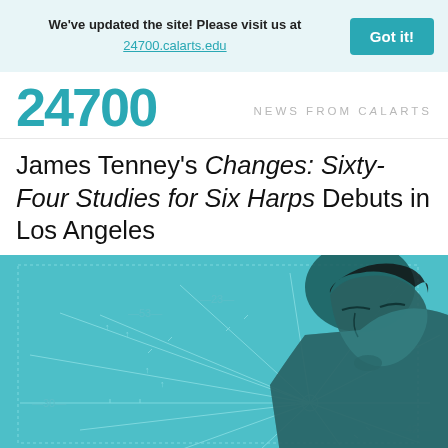We've updated the site! Please visit us at 24700.calarts.edu  Got it!
24700  NEWS FROM CalARTS
James Tenney's Changes: Sixty-Four Studies for Six Harps Debuts in Los Angeles
[Figure (photo): Teal-toned image of a man (James Tenney) looking downward, overlaid on a diagram with radiating lines and numbers including 53, 23, 65, 30, 0, 42]